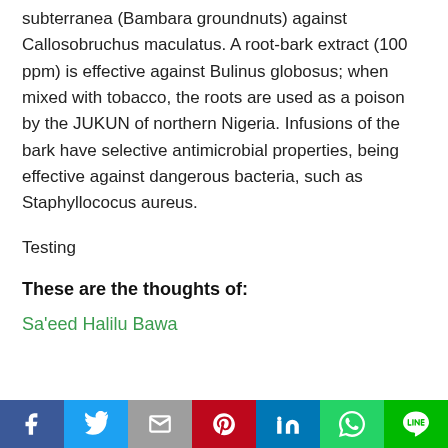subterranea (Bambara groundnuts) against Callosobruchus maculatus. A root-bark extract (100 ppm) is effective against Bulinus globosus; when mixed with tobacco, the roots are used as a poison by the JUKUN of northern Nigeria. Infusions of the bark have selective antimicrobial properties, being effective against dangerous bacteria, such as Staphyllococus aureus.
Testing
These are the thoughts of:
Sa'eed Halilu Bawa
[Figure (other): Social media share bar with icons for Facebook, Twitter, Gmail, Pinterest, LinkedIn, WhatsApp, and LINE]